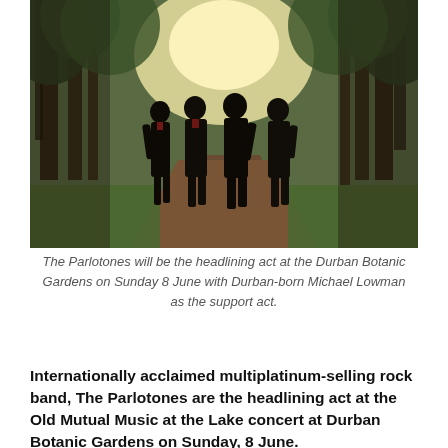[Figure (photo): Four silhouetted people standing on a tree-lined path in soft sunlight, photographed outdoors in a park or garden setting.]
The Parlotones will be the headlining act at the Durban Botanic Gardens on Sunday 8 June with Durban-born Michael Lowman as the support act.
Internationally acclaimed multiplatinum-selling rock band, The Parlotones are the headlining act at the Old Mutual Music at the Lake concert at Durban Botanic Gardens on Sunday, 8 June.
Having achieved multiplatinum-selling status in South